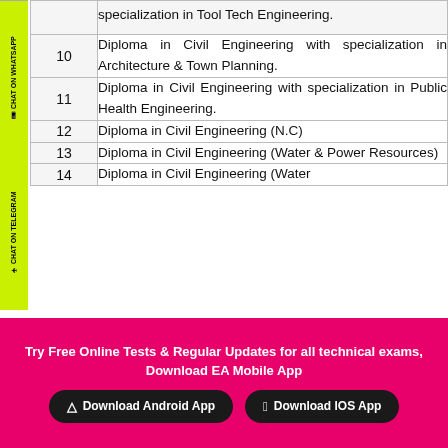| # | Description |
| --- | --- |
|  | specialization in Tool Tech Engineering. |
| 10 | Diploma in Civil Engineering with specialization in Architecture & Town Planning. |
| 11 | Diploma in Civil Engineering with specialization in Public Health Engineering. |
| 12 | Diploma in Civil Engineering (N.C) |
| 13 | Diploma in Civil Engineering (Water & Power Resources) |
| 14 | Diploma in Civil Engineering (Water |
Try Free Online Tests & Regular Updates for all technical exams, Download EA Mobile App
Download Android App
Download IOS App